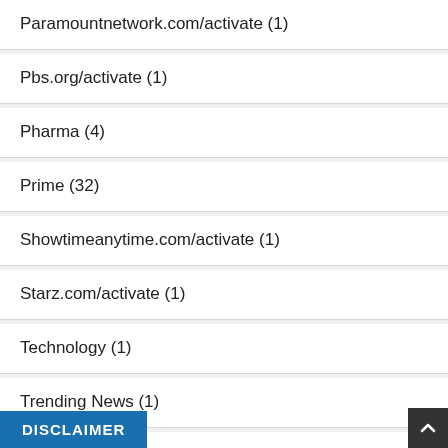Paramountnetwork.com/activate (1)
Pbs.org/activate (1)
Pharma (4)
Prime (32)
Showtimeanytime.com/activate (1)
Starz.com/activate (1)
Technology (1)
Trending News (1)
Univision.com/activate (1)
weathergroup.com/activate-device (1)
DISCLAIMER